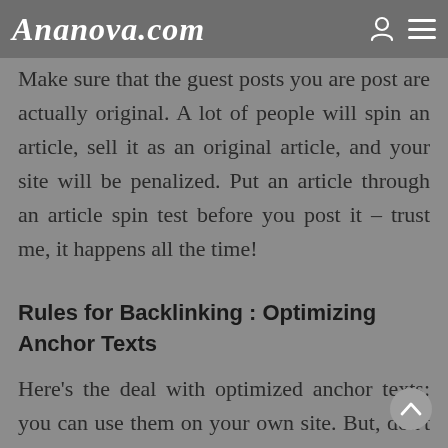Ananova.com
Make sure that the guest posts you are post are actually original. A lot of people will spin an article, sell it as an original article, and your site will be penalized. Put an article through an article spin test before you post it – trust me, it happens all the time!
Rules for Backlinking : Optimizing Anchor Texts
Here's the deal with optimized anchor texts: you can use them on your own site. But, don't put the same article (or a variation of that article) on another site. Google